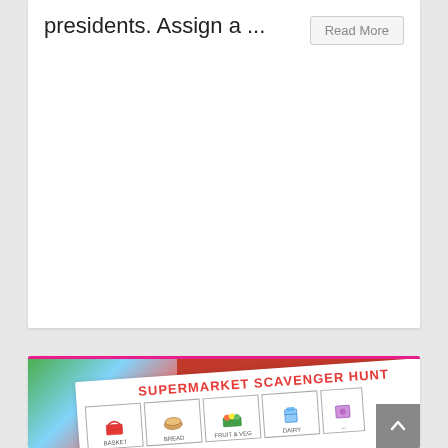presidents. Assign a ...
Read More
[Figure (photo): A photo of a Supermarket Scavenger Hunt worksheet/printable laid on a colorful background (green, blue, red). The sheet shows a grid of illustrated items including a basket, bread, fruits/vegetables, and other grocery items with labels beneath each.]